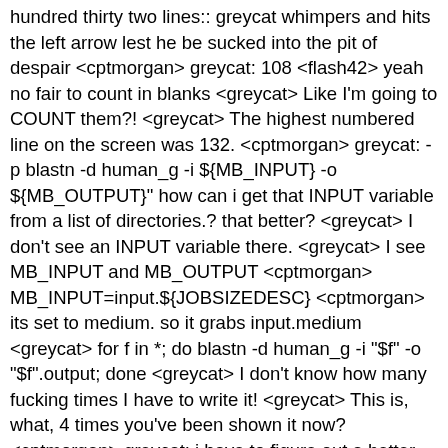hundred thirty two lines:: greycat whimpers and hits the left arrow lest he be sucked into the pit of despair <cptmorgan> greycat: 108 <flash42> yeah no fair to count in blanks <greycat> Like I'm going to COUNT them?! <greycat> The highest numbered line on the screen was 132. <cptmorgan> greycat: -p blastn -d human_g -i ${MB_INPUT} -o ${MB_OUTPUT}" how can i get that INPUT variable from a list of directories.? that better? <greycat> I don't see an INPUT variable there. <greycat> I see MB_INPUT and MB_OUTPUT <cptmorgan> MB_INPUT=input.${JOBSIZEDESC} <cptmorgan> its set to medium. so it grabs input.medium <greycat> for f in *; do blastn -d human_g -i "$f" -o "$f".output; done <greycat> I don't know how many fucking times I have to write it! <greycat> This is, what, 4 times you've been shown it now? <cptmorgan> greycat: i have to figure out a better way to explain this. ya your right but the first script has to run qsub for every one of those file too <greycat> Then do that. <cptmorgan> greycat: i got it! could i have a simple bash line that would create a new pbs_script and replace that INPUT variable? that way the first script could just start qsub pbs_scripts*.sh <greycat> cptmorgan: "I have _. I want to _." <greycat> For example, the first blank might be "7 *.frob files in one directory". <anonymouz666> hah <greycat> The second might be "run qsub -short